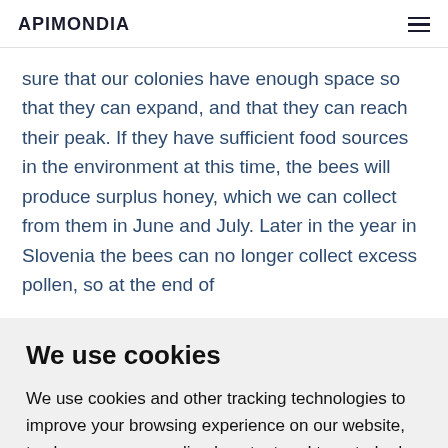APIMONDIA
sure that our colonies have enough space so that they can expand, and that they can reach their peak. If they have sufficient food sources in the environment at this time, the bees will produce surplus honey, which we can collect from them in June and July. Later in the year in Slovenia the bees can no longer collect excess pollen, so at the end of
We use cookies
We use cookies and other tracking technologies to improve your browsing experience on our website, to show you personalized content and targeted ads, to analyze our website traffic, and